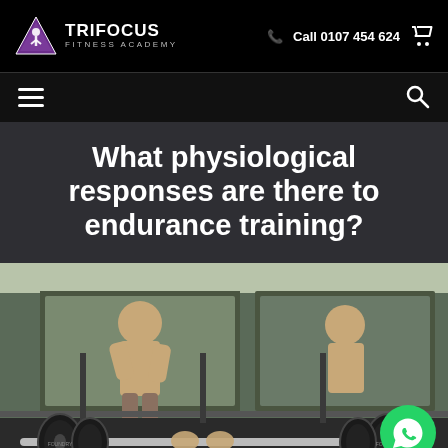Trifocus Fitness Academy — Call 0107 454 624
What physiological responses are there to endurance training?
[Figure (photo): A gym setting showing a person lifting a barbell loaded with weight plates outdoors in front of a building with large fitness advertisement banners on the facade showing a muscular male athlete.]